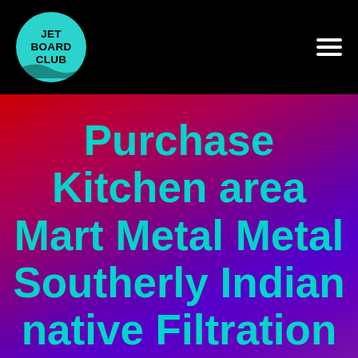[Figure (logo): Jet Board Club circular teal logo with black text on black navigation bar header, with hamburger menu icon on the right]
Purchase Kitchen area Mart Metal Metal Southerly Indian native Filtration system